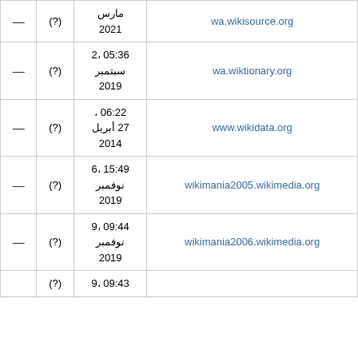| رابط | تاريخ | (?) | — |
| --- | --- | --- | --- |
| wa.wikisource.org | مارس
2021 | (?) | — |
| wa.wiktionary.org | 05:36 ،2
سبتمبر
2019 | (?) | — |
| www.wikidata.org | 06:22 ،
27 أبريل
2014 | (?) | — |
| wikimania2005.wikimedia.org | 15:49 ،6
نوفمبر
2019 | (?) | — |
| wikimania2006.wikimedia.org | 09:44 ،9
نوفمبر
2019 | (?) | — |
| wikimania2007.wikimedia.org (partial) | 09:43 ،9 | (?) |  |